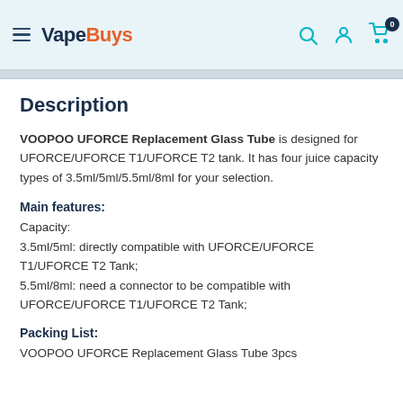VapeBuys
Description
VOOPOO UFORCE Replacement Glass Tube is designed for UFORCE/UFORCE T1/UFORCE T2 tank. It has four juice capacity types of 3.5ml/5ml/5.5ml/8ml for your selection.
Main features:
Capacity:
3.5ml/5ml: directly compatible with UFORCE/UFORCE T1/UFORCE T2 Tank;
5.5ml/8ml: need a connector to be compatible with UFORCE/UFORCE T1/UFORCE T2 Tank;
Packing List:
VOOPOO UFORCE Replacement Glass Tube 3pcs